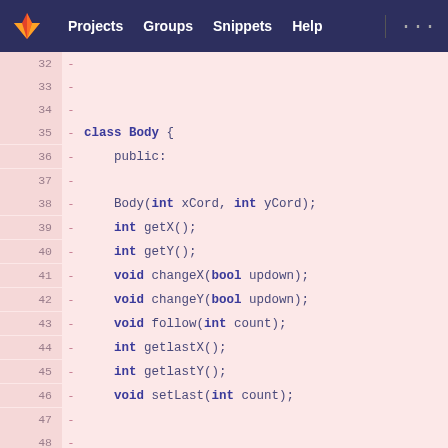GitLab navigation: Projects, Groups, Snippets, Help
[Figure (screenshot): GitLab diff view showing C++ header file lines 32-51 with class Body definition including public methods and private members, displayed on pink/red diff background]